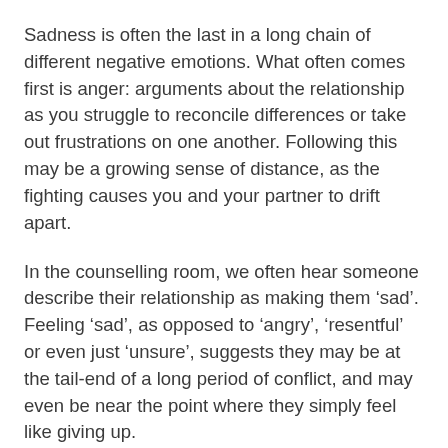Sadness is often the last in a long chain of different negative emotions. What often comes first is anger: arguments about the relationship as you struggle to reconcile differences or take out frustrations on one another. Following this may be a growing sense of distance, as the fighting causes you and your partner to drift apart.
In the counselling room, we often hear someone describe their relationship as making them ‘sad’. Feeling ‘sad’, as opposed to ‘angry’, ‘resentful’ or even just ‘unsure’, suggests they may be at the tail-end of a long period of conflict, and may even be near the point where they simply feel like giving up.
How do we get back from here?